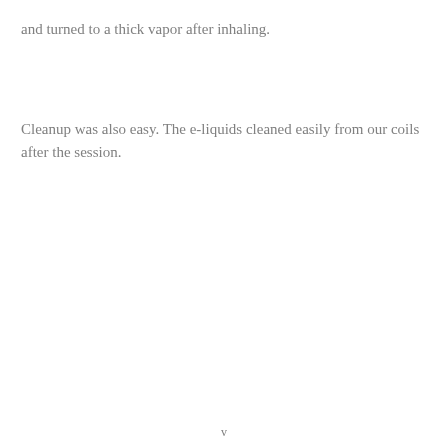and turned to a thick vapor after inhaling.
Cleanup was also easy. The e-liquids cleaned easily from our coils after the session.
v